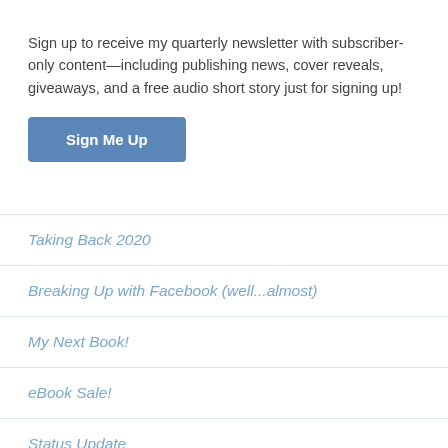Sign up to receive my quarterly newsletter with subscriber-only content—including publishing news, cover reveals, giveaways, and a free audio short story just for signing up!
Sign Me Up
Taking Back 2020
Breaking Up with Facebook (well...almost)
My Next Book!
eBook Sale!
Status Update
A Prayer for the Current Crisis